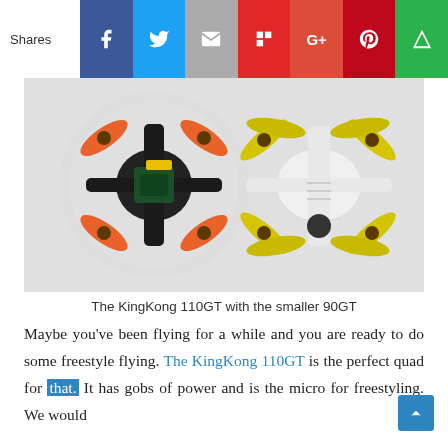Shares [social icons: Facebook, Twitter, Email, Flipboard, G+, Pinterest, Feedly]
[Figure (photo): Two small racing drones viewed from above on a white surface. Left drone is black with orange propellers and white circular prop guards. Right drone is white with yellow tri-blade propellers and no guards, with a camera on the front.]
The KingKong 110GT with the smaller 90GT
Maybe you've been flying for a while and you are ready to do some freestyle flying. The KingKong 110GT is the perfect quad for that. It has gobs of power and is the micro for freestyling. We would